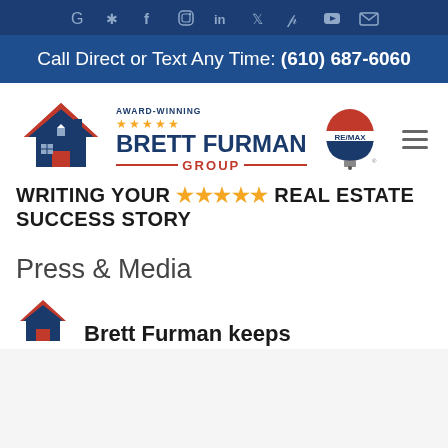G ✦ f ○ in y p ▶ ✉
Call Direct or Text Any Time: (610) 687-6060
[Figure (logo): Brett Furman Group award-winning real estate logo with house icon and RE/MAX balloon]
WRITING YOUR ★★★★★ REAL ESTATE SUCCESS STORY
Press & Media
Brett Furman keeps